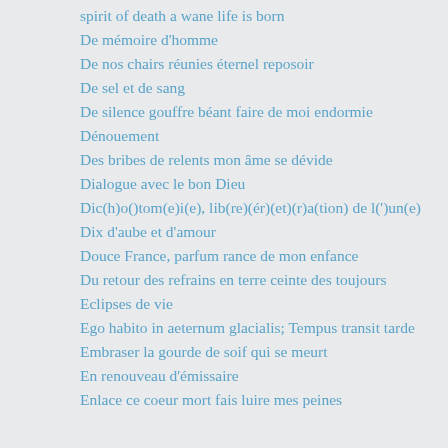spirit of death a wane life is born
De mémoire d'homme
De nos chairs réunies éternel reposoir
De sel et de sang
De silence gouffre béant faire de moi endormie
Dénouement
Des bribes de relents mon âme se dévide
Dialogue avec le bon Dieu
Dic(h)o()tom(e)i(e), lib(re)(ér)(et)(r)a(tion) de l(')un(e)
Dix d'aube et d'amour
Douce France, parfum rance de mon enfance
Du retour des refrains en terre ceinte des toujours
Eclipses de vie
Ego habito in aeternum glacialis; Tempus transit tarde
Embraser la gourde de soif qui se meurt
En renouveau d'émissaire
Enlace ce coeur mort fais luire mes peines